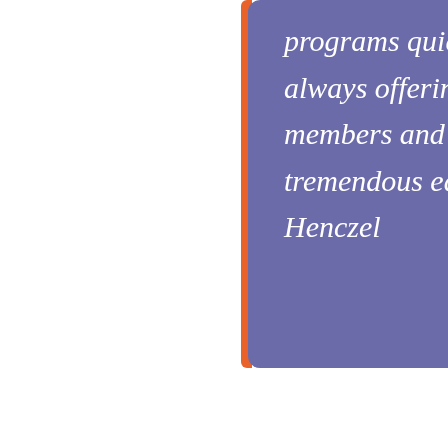programs quickly and professionally, always offering something new to my members and leaders, giving me tremendous edge in the market.- Jennifer Henczel